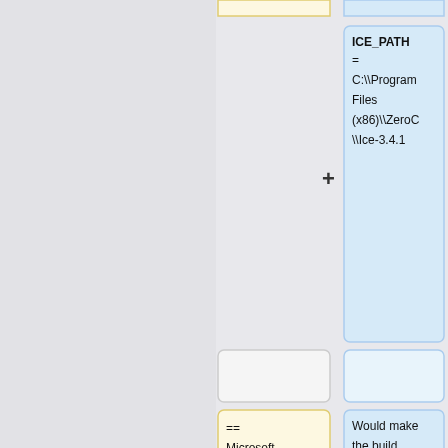[Figure (flowchart): Partial flowchart showing two columns of nodes. Top-right blue node contains 'ICE_PATH = C:\\Program Files (x86)\\ZeroC\\Ice-3.4.1'. A plus sign connector. Middle row has two empty/partial nodes. Bottom-left yellow node contains '== Microsoft DirectX SDK =='. Bottom-right blue node contains 'Would make the build process search its OpenSSL and Ice dependencies in the specified folders and use defaults for everything else. Note...']